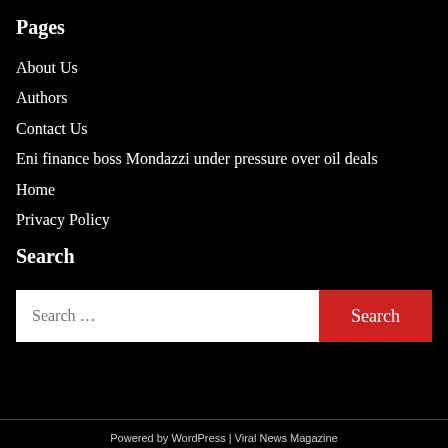Pages
About Us
Authors
Contact Us
Eni finance boss Mondazzi under pressure over oil deals
Home
Privacy Policy
Search
Search …
Powered by WordPress | Viral News Magazine